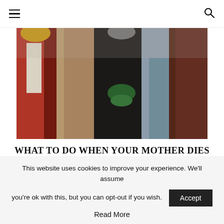≡  🔍
[Figure (photo): Group of women posing together outdoors, wearing winter clothing — red vest, brown fur, black turtleneck with green necklace, grey vest, dark maroon vest.]
WHAT TO DO WHEN YOUR MOTHER DIES
[Figure (other): Carousel dot navigation — 10 dots, first dot filled green, rest empty circles]
This website uses cookies to improve your experience. We'll assume you're ok with this, but you can opt-out if you wish. Accept
Read More